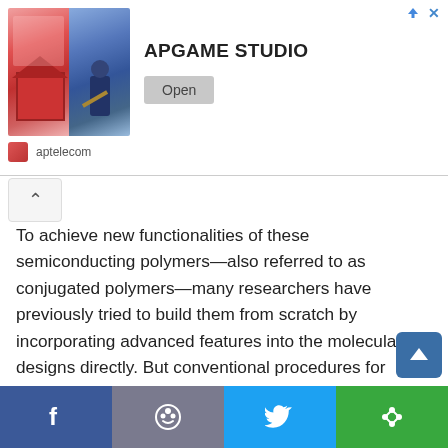[Figure (screenshot): Advertisement banner for APGAME STUDIO with game images on left, title text, Open button, and aptelecom brand name below]
To achieve new functionalities of these semiconducting polymers—also referred to as conjugated polymers—many researchers have previously tried to build them from scratch by incorporating advanced features into the molecular designs directly. But conventional procedures for doing this have failed, either because the molecules have been unable to withstand the conditions needed to attach them to the polymer chains, or because the synthesis process decreased their efficacy.
To overcome this, Wang, with graduate student Nan Li, developed the CLIP method, which uses a copper-catalyzed azide-alkyne cycloaddition to add functional units to a polym... Because this "click reaction" happens after the polymer is
[Figure (screenshot): Social sharing bar with Facebook, Reddit, Twitter, and more options buttons]